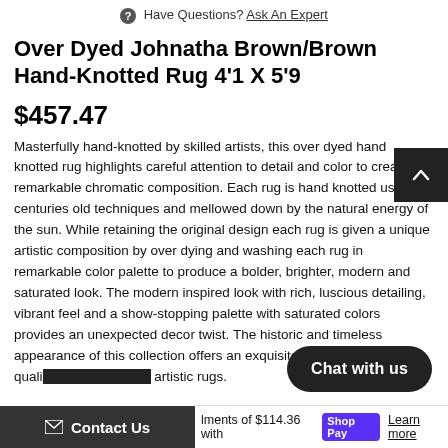Have Questions? Ask An Expert
Over Dyed Johnatha Brown/Brown Hand-Knotted Rug 4'1 X 5'9
$457.47
Masterfully hand-knotted by skilled artists, this over dyed hand knotted rug highlights careful attention to detail and color to create a remarkable chromatic composition. Each rug is hand knotted using centuries old techniques and mellowed down by the natural energy of the sun. While retaining the original design each rug is given a unique artistic composition by over dying and washing each rug in remarkable color palette to produce a bolder, brighter, modern and saturated look. The modern inspired look with rich, luscious detailing, vibrant feel and a show-stopping palette with saturated colors provides an unexpected decor twist. The historic and timeless appearance of this collection offers an exquisite quality of over dyed artistic rugs.
Chat with us
Contact Us   installments of $114.36 with Shop Pay   Learn more